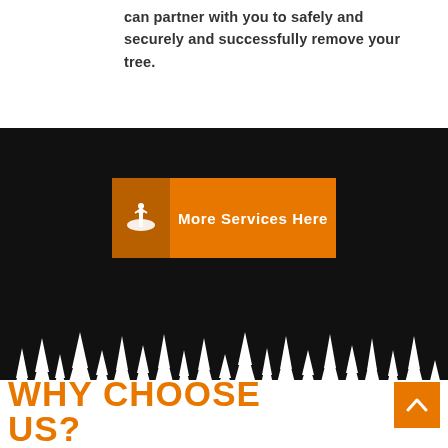can partner with you to safely and securely and successfully remove your tree.
[Figure (illustration): Orange button with plant icon and text 'More Services Here']
[Figure (illustration): White tree silhouette against black background representing a forest treeline]
[Figure (illustration): Orange scroll-to-top button with up arrow chevron]
WHY CHOOSE US?